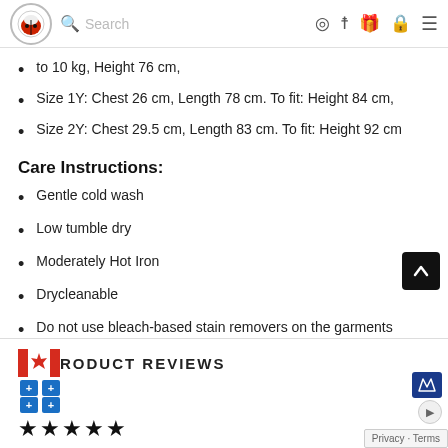Navigation bar with logo, search, and icons
to 10 kg, Height 76 cm,
Size 1Y: Chest 26 cm, Length 78 cm. To fit: Height 84 cm,
Size 2Y: Chest 29.5 cm, Length 83 cm. To fit: Height 92 cm
Care Instructions:
Gentle cold wash
Low tumble dry
Moderately Hot Iron
Drycleanable
Do not use bleach-based stain removers on the garments
PRODUCT REVIEWS
★★★★★